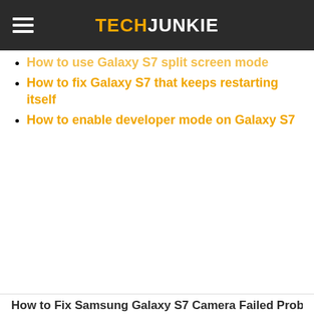TECHJUNKIE
How to use Galaxy S7 split screen mode
How to fix Galaxy S7 that keeps restarting itself
How to enable developer mode on Galaxy S7
How to Fix Samsung Galaxy S7 Camera Failed Problems